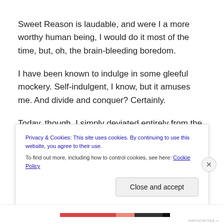Sweet Reason is laudable, and were I a more worthy human being, I would do it most of the time, but, oh, the brain-bleeding boredom.
I have been known to indulge in some gleeful mockery. Self-indulgent, I know, but it amuses me. And divide and conquer? Certainly.
Today, though, I simply deviated entirely from the script.
Privacy & Cookies: This site uses cookies. By continuing to use this website, you agree to their use.
To find out more, including how to control cookies, see here: Cookie Policy